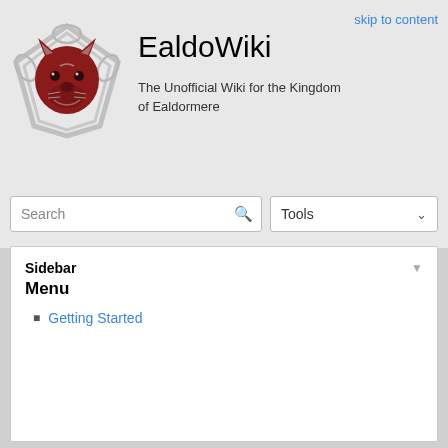skip to content
EaldoWiki
The Unofficial Wiki for the Kingdom of Ealdormere
[Figure (logo): EaldoWiki logo: a dark red wolf face on a triangular Celtic knot shield, white/silver border on grey background]
Sidebar
Menu
Getting Started